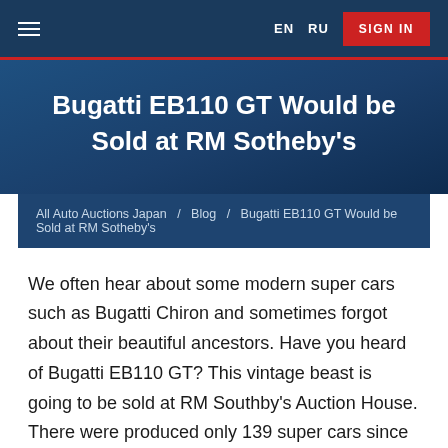≡  EN  RU  SIGN IN
Bugatti EB110 GT Would be Sold at RM Sotheby's
All Auto Auctions Japan / Blog / Bugatti EB110 GT Would be Sold at RM Sotheby's
We often hear about some modern super cars such as Bugatti Chiron and sometimes forgot about their beautiful ancestors. Have you heard of Bugatti EB110 GT? This vintage beast is going to be sold at RM Southby's Auction House. There were produced only 139 super cars since 1991 till 1995 years. Those time this car cost